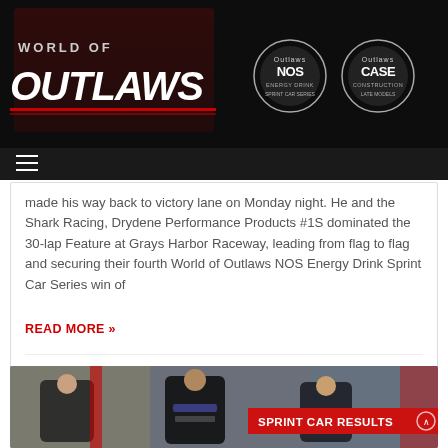[Figure (logo): World of Outlaws logo with NOS Energy Drink Sprint Car Series and CASE Construction Late Model Series badge logos on black background header]
made his way back to victory lane on Monday night. He and the Shark Racing, Drydene Performance Products #1S dominated the 30-lap Feature at Grays Harbor Raceway, leading from flag to flag and securing their fourth World of Outlaws NOS Energy Drink Sprint Car Series win of
READ MORE »
September 7, 2021  ·  No Comments
[Figure (photo): Three racing drivers in racing suits standing in victory lane, with a red SPRINT CAR RESULTS banner overlay in the bottom right corner]